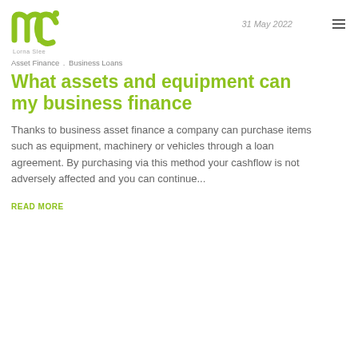Lorna Slee  31 May 2022
Asset Finance . Business Loans
What assets and equipment can my business finance
Thanks to business asset finance a company can purchase items such as equipment, machinery or vehicles through a loan agreement. By purchasing via this method your cashflow is not adversely affected and you can continue...
READ MORE